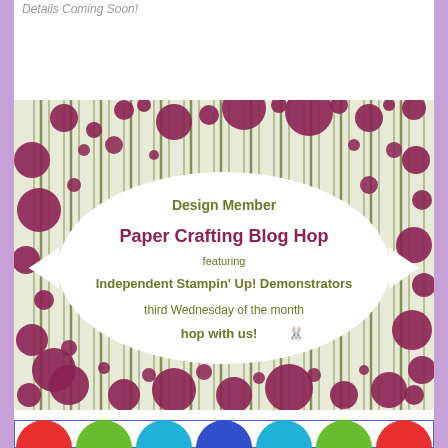Details Coming Soon!
[Figure (illustration): Design Member Paper Crafting Blog Hop featuring Independent Stampin' Up! Demonstrators, third Wednesday of the month, hop with us! Banner with purple circles and green stripes background.]
[Figure (illustration): Colorful scalloped banner with red, green, blue, and dark blue semicircles at bottom of page.]